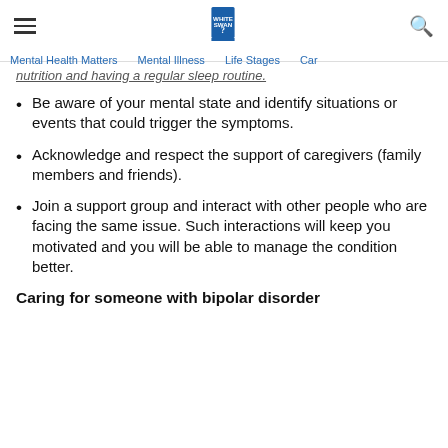Mental Health Matters | Mental Illness | Life Stages | Car...
...nutrition and having a regular sleep routine.
Be aware of your mental state and identify situations or events that could trigger the symptoms.
Acknowledge and respect the support of caregivers (family members and friends).
Join a support group and interact with other people who are facing the same issue. Such interactions will keep you motivated and you will be able to manage the condition better.
Caring for someone with bipolar disorder